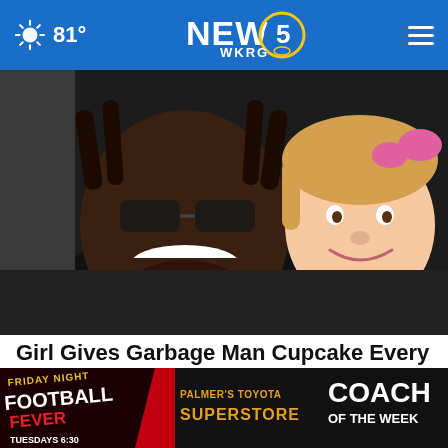81° NEWS 5 WKRG
[Figure (photo): A smiling man with dreadlocks and sunglasses posing with a young blonde toddler girl who is smiling.]
Girl Gives Garbage Man Cupcake Every Week Until Dad Follows Him and Sees Why
HealthyGem
[Figure (photo): Partial bottom image showing a secondary news story thumbnail partially visible, overlaid with a Friday Night Football Fever advertisement for Palmer's Toyota Superstore Coach of the Week, Tuesdays 6:30.]
FRIDAY NIGHT FOOTBALL FEVER | PALMER'S TOYOTA SUPERSTORE | COACH OF THE WEEK | TUESDAYS 6:30